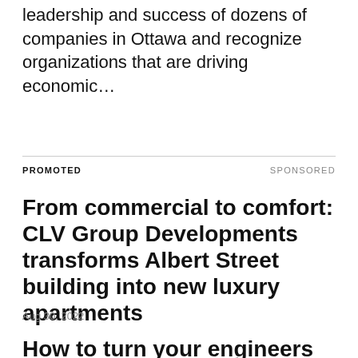leadership and success of dozens of companies in Ottawa and recognize organizations that are driving economic…
PROMOTED
SPONSORED
From commercial to comfort: CLV Group Developments transforms Albert Street building into new luxury apartments
Aug 30, 2022
How to turn your engineers into sales